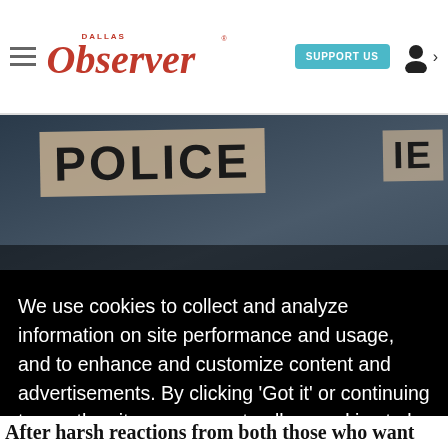Dallas Observer — SUPPORT US
[Figure (photo): Photograph of a protest sign reading POLICE in large letters, dark background]
We use cookies to collect and analyze information on site performance and usage, and to enhance and customize content and advertisements. By clicking 'Got it' or continuing to use the site, you agree to allow cookies to be placed. To find out more, visit our cookies policy and our privacy policy.
Got it!
rected
ens day.
After harsh reactions from both those who want